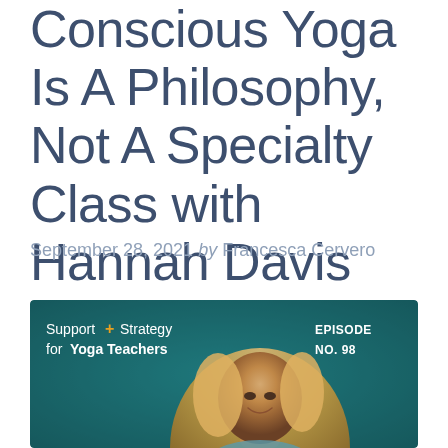Conscious Yoga Is A Philosophy, Not A Specialty Class with Hannah Davis
September 28, 2021 by Francesca Cervero
[Figure (other): Podcast episode thumbnail for 'Support + Strategy for Yoga Teachers', Episode No. 98, featuring a smiling woman with blonde hair on a teal/dark green background]